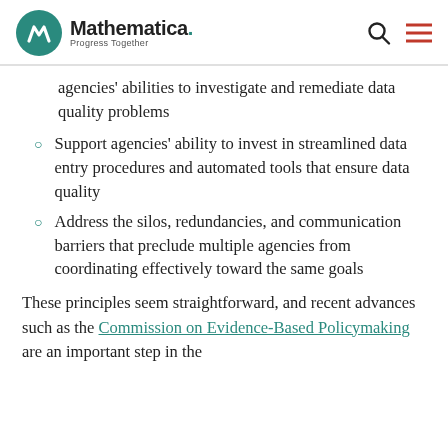Mathematica. Progress Together
agencies' abilities to investigate and remediate data quality problems
Support agencies' ability to invest in streamlined data entry procedures and automated tools that ensure data quality
Address the silos, redundancies, and communication barriers that preclude multiple agencies from coordinating effectively toward the same goals
These principles seem straightforward, and recent advances such as the Commission on Evidence-Based Policymaking are an important step in the